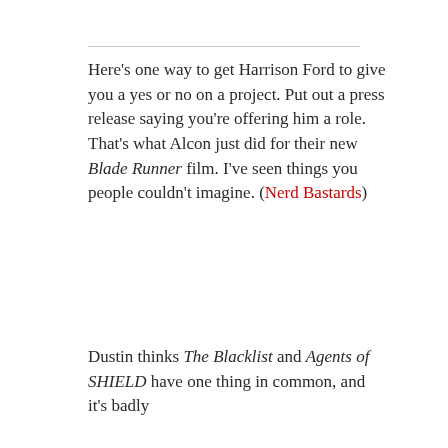Here's one way to get Harrison Ford to give you a yes or no on a project. Put out a press release saying you're offering him a role. That's what Alcon just did for their new Blade Runner film. I've seen things you people couldn't imagine. (Nerd Bastards)
Dustin thinks The Blacklist and Agents of SHIELD have one thing in common, and it's badly